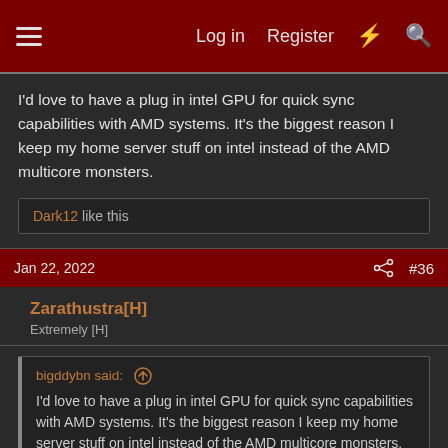Log in  Register  #36
I'd love to have a plug in intel GPU for quick sync capabilities with AMD systems. It's the biggest reason I keep my home server stuff on intel instead of the AMD multicore monsters.
Dark12 like this
Jan 22, 2022  #36
Zarathustra[H]
Extremely [H]
bigddybn said: I'd love to have a plug in intel GPU for quick sync capabilities with AMD systems. It's the biggest reason I keep my home server stuff on intel instead of the AMD multicore monsters.
True, having a bottom barrel Intel dedicated GPU for video